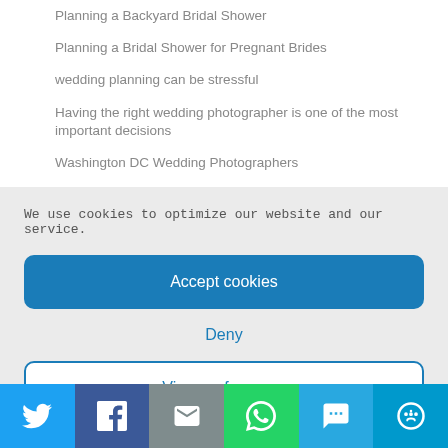Planning a Backyard Bridal Shower
Planning a Bridal Shower for Pregnant Brides
wedding planning can be stressful
Having the right wedding photographer is one of the most important decisions
Washington DC Wedding Photographers
We use cookies to optimize our website and our service.
Accept cookies
Deny
View preferences